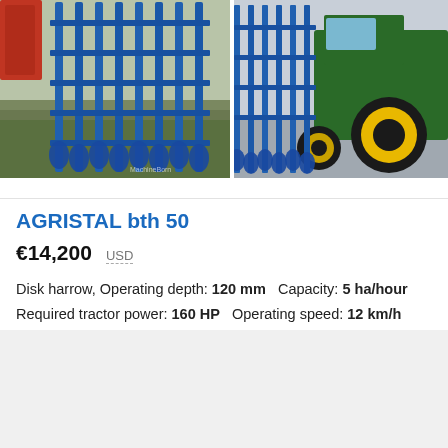[Figure (photo): Two photos of a blue disk harrow agricultural implement. Left photo shows the harrow standing in a grassy field with a partial view of red machinery. Right photo shows the harrow attached to a green tractor with yellow wheels on a paved surface.]
AGRISTAL bth 50
€14,200   USD
Disk harrow, Operating depth: 120 mm   Capacity: 5 ha/hour Required tractor power: 160 HP   Operating speed: 12 km/h Year: 2022   Working width: 5 m
France, Daillancourt